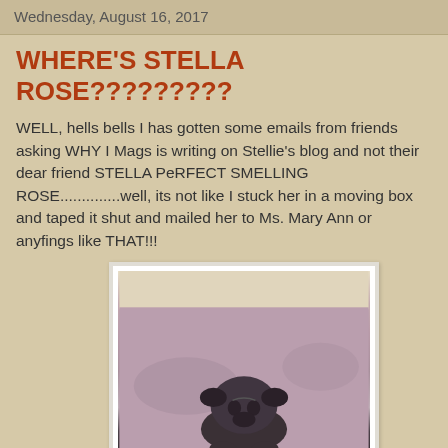Wednesday, August 16, 2017
WHERE'S STELLA ROSE?????????
WELL, hells bells I has gotten some emails from friends asking WHY I Mags is writing on Stellie's blog and not their dear friend STELLA PeRFECT SMELLING ROSE..............well, its not like I stuck her in a moving box and taped it shut and mailed her to Ms. Mary Ann or anyfings like THAT!!!
[Figure (photo): A dark-colored pug dog sitting or lying on a mauve/purple carpet, viewed from above. The photo has a white border frame.]